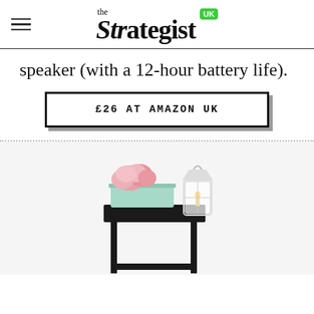the Strategist UK
speaker (with a 12-hour battery life).
£26 AT AMAZON UK
[Figure (photo): Product photo of a black metal side table/planter stand with a mint-green rectangular planter holding pink flowers, and a glass lantern on the right side, on a light grey background.]